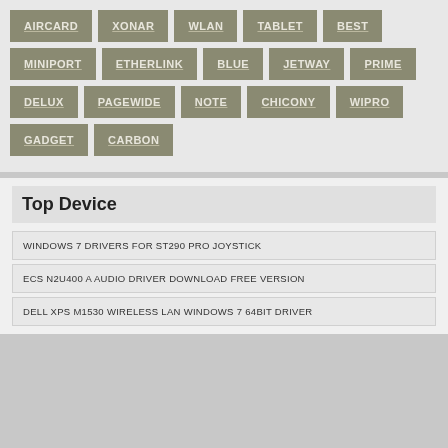AIRCARD
XONAR
WLAN
TABLET
BEST
MINIPORT
ETHERLINK
BLUE
JETWAY
PRIME
DELUX
PAGEWIDE
NOTE
CHICONY
WIPRO
GADGET
CARBON
Top Device
WINDOWS 7 DRIVERS FOR ST290 PRO JOYSTICK
ECS N2U400 A AUDIO DRIVER DOWNLOAD FREE VERSION
DELL XPS M1530 WIRELESS LAN WINDOWS 7 64BIT DRIVER